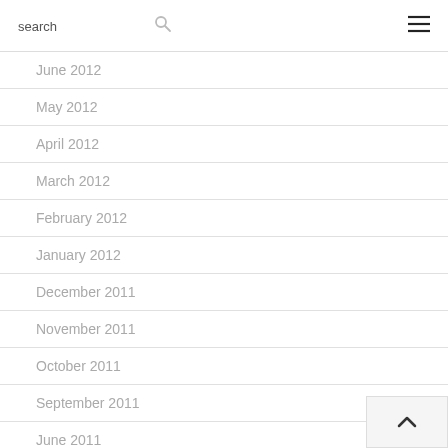search ☰
June 2012
May 2012
April 2012
March 2012
February 2012
January 2012
December 2011
November 2011
October 2011
September 2011
June 2011
May 2011